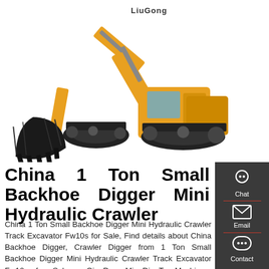[Figure (photo): LiuGong yellow crawler excavator with large bucket arm, shown on white background. Brand name LiuGong visible on the machine.]
China 1 Ton Small Backhoe Digger Mini Hydraulic Crawler
China 1 Ton Small Backhoe Digger Mini Hydraulic Crawler Track Excavator Fw10s for Sale, Find details about China Backhoe Digger, Crawler Digger from 1 Ton Small Backhoe Digger Mini Hydraulic Crawler Track Excavator Fw10s for Sale - QingDao MingDingTe Machinery Equipment Co., ...